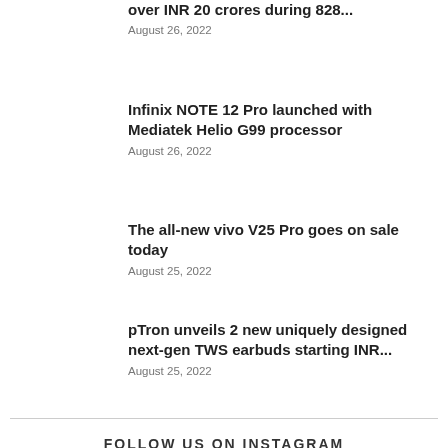over INR 20 crores during 828...
August 26, 2022
Infinix NOTE 12 Pro launched with Mediatek Helio G99 processor
August 26, 2022
The all-new vivo V25 Pro goes on sale today
August 25, 2022
pTron unveils 2 new uniquely designed next-gen TWS earbuds starting INR...
August 25, 2022
FOLLOW US ON INSTAGRAM